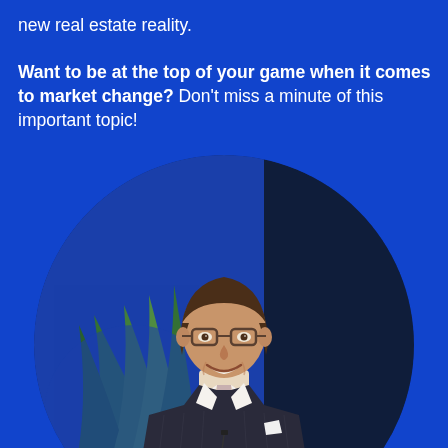new real estate reality. Want to be at the top of your game when it comes to market change? Don't miss a minute of this important topic!
[Figure (photo): A smiling middle-aged man in a dark pinstripe suit with a light patterned tie and glasses, standing in front of a blue background with a green decorative element, presented in a circular crop.]